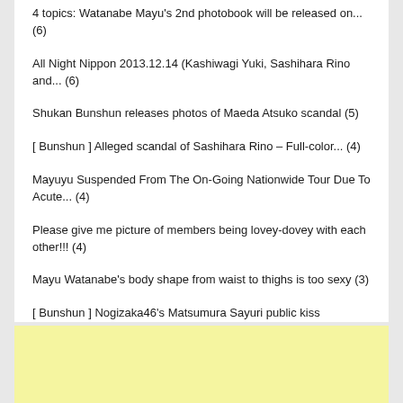4 topics: Watanabe Mayu's 2nd photobook will be released on... (6)
All Night Nippon 2013.12.14 (Kashiwagi Yuki, Sashihara Rino and... (6)
Shukan Bunshun releases photos of Maeda Atsuko scandal (5)
[ Bunshun ] Alleged scandal of Sashihara Rino – Full-color... (4)
Mayuyu Suspended From The On-Going Nationwide Tour Due To Acute... (4)
Please give me picture of members being lovey-dovey with each other!!! (4)
Mayu Watanabe's body shape from waist to thighs is too sexy (3)
[ Bunshun ] Nogizaka46's Matsumura Sayuri public kiss scandal... (3)
[Figure (other): Yellow advertisement placeholder box at the bottom of the page]